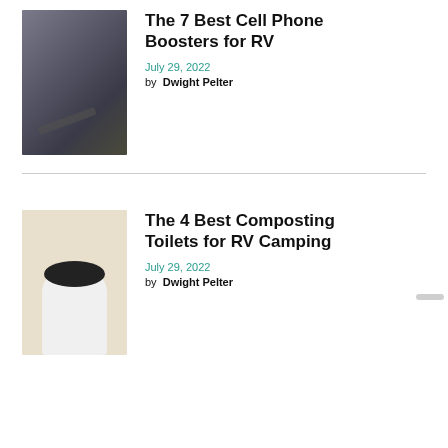[Figure (photo): Person holding a smartphone in a vehicle interior with an orange bottle in the background]
The 7 Best Cell Phone Boosters for RV
July 29, 2022
by  Dwight Pelter
[Figure (photo): White composting toilet with black lid in an RV bathroom]
The 4 Best Composting Toilets for RV Camping
July 29, 2022
by  Dwight Pelter